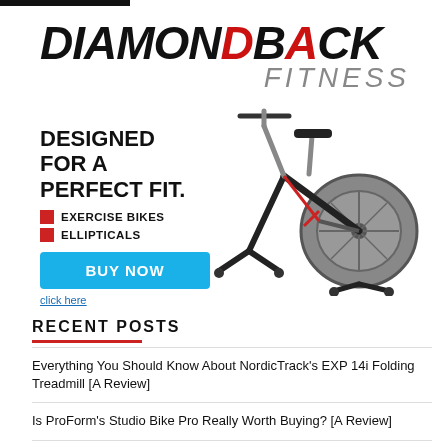[Figure (illustration): Diamondback Fitness advertisement banner featuring the Diamondback Fitness logo (DIAMONDBACK in bold black italic with D in red, FITNESS in gray), a spinning/exercise bike image on the right, text 'DESIGNED FOR A PERFECT FIT.' with red square bullet points for 'EXERCISE BIKES' and 'ELLIPTICALS', a blue 'BUY NOW' button, and a 'click here' hyperlink.]
RECENT POSTS
Everything You Should Know About NordicTrack's EXP 14i Folding Treadmill [A Review]
Is ProForm's Studio Bike Pro Really Worth Buying? [A Review]